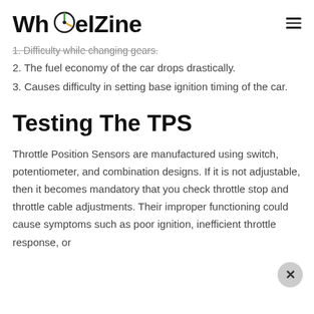WheelZine
1. Difficulty while changing gears.
2. The fuel economy of the car drops drastically.
3. Causes difficulty in setting base ignition timing of the car.
Testing The TPS
Throttle Position Sensors are manufactured using switch, potentiometer, and combination designs. If it is not adjustable, then it becomes mandatory that you check throttle stop and throttle cable adjustments. Their improper functioning could cause symptoms such as poor ignition, inefficient throttle response, or